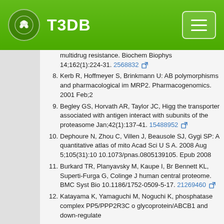T3DB
multidrug resistance. Biochem Biophys 14;162(1):224-31. 2568832
8. Kerb R, Hoffmeyer S, Brinkmann U: AB polymorphisms and pharmacological im MRP2. Pharmacogenomics. 2001 Feb;2
9. Begley GS, Horvath AR, Taylor JC, Higg the transporter associated with antigen interact with subunits of the proteasome Jan;42(1):137-41. 15488952
10. Dephoure N, Zhou C, Villen J, Beausole SJ, Gygi SP: A quantitative atlas of mito Acad Sci U S A. 2008 Aug 5;105(31):10 10.1073/pnas.0805139105. Epub 2008
11. Burkard TR, Planyavsky M, Kaupe I, Br Bennett KL, Superti-Furga G, Colinge J human central proteome. BMC Syst Bio 10.1186/1752-0509-5-17. 21269460
12. Katayama K, Yamaguchi M, Noguchi K, phosphatase complex PP5/PPP2R3C o glycoprotein/ABCB1 and down-regulate